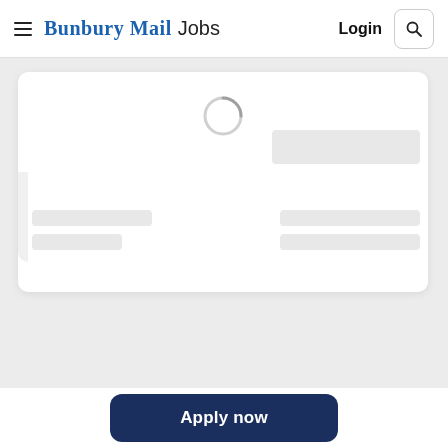Bunbury Mail Jobs  Login
[Figure (screenshot): Loading state of a job listing card with a spinner and skeleton placeholder blocks on a light grey background]
Apply now